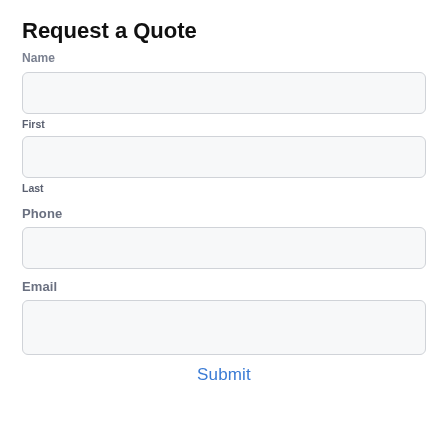Request a Quote
Name
First
Last
Phone
Email
Submit